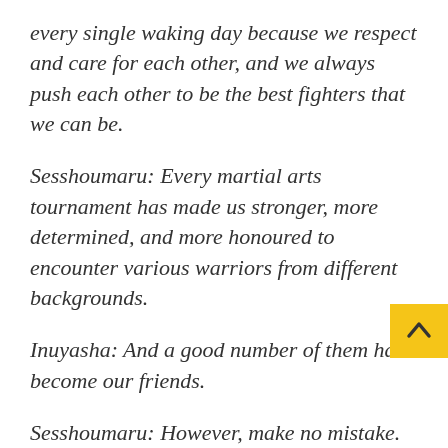every single waking day because we respect and care for each other, and we always push each other to be the best fighters that we can be.
Sesshoumaru: Every martial arts tournament has made us stronger, more determined, and more honoured to encounter various warriors from different backgrounds.
Inuyasha: And a good number of them have become our friends.
Sesshoumaru: However, make no mistake. Neither our dojo nor our family is to be taken for granted let alone besmirched. Moreover, you dare not dishonour me, my brother, our